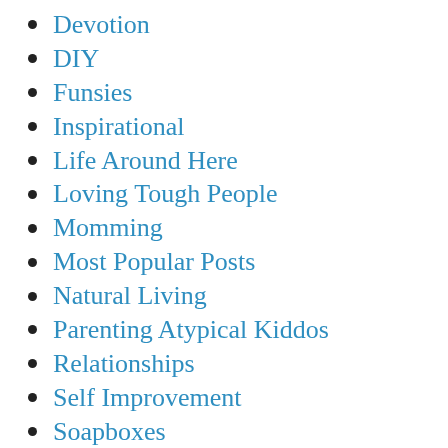Devotion
DIY
Funsies
Inspirational
Life Around Here
Loving Tough People
Momming
Most Popular Posts
Natural Living
Parenting Atypical Kiddos
Relationships
Self Improvement
Soapboxes
Uncategorized